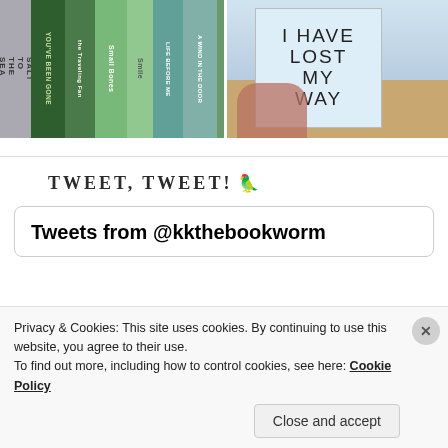[Figure (photo): Two side-by-side photos: left shows colorful book spines including 'Salt to the Sea', 'You've Been Gone', 'The Traveling', 'Small Bones', 'Smile', 'Life Before Me', 'A Wind in the Door'; right shows a hand holding a book titled 'I Have Lost My Way' in front of a shelf of books.]
TWEET, TWEET! 🦜
Tweets from @kkthebookworm
Privacy & Cookies: This site uses cookies. By continuing to use this website, you agree to their use.
To find out more, including how to control cookies, see here: Cookie Policy
Close and accept